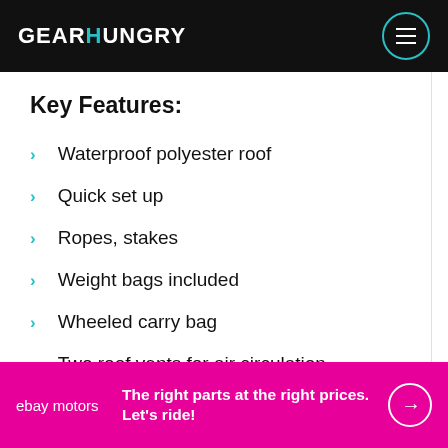GEARHUNGRY
Key Features:
Waterproof polyester roof
Quick set up
Ropes, stakes
Weight bags included
Wheeled carry bag
Two roof vents for air circulation
The right parts at the right prices. Let's ride!